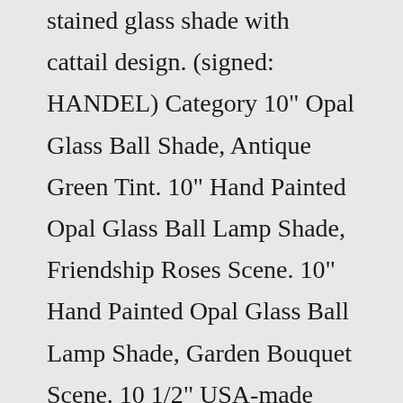stained glass shade with cattail design. (signed: HANDEL) Category 10" Opal Glass Ball Shade, Antique Green Tint. 10" Hand Painted Opal Glass Ball Lamp Shade, Friendship Roses Scene. 10" Hand Painted Opal Glass Ball Lamp Shade, Garden Bouquet Scene. 10 1/2" USA-made Opal Glass Ball Shade. 11" USA-made Opal Glass Ball Shade. 12" USA-made Opal Glass Ball Shade.Fine Art Handcrafted Lighting 773210Crystal Crystal Laurel